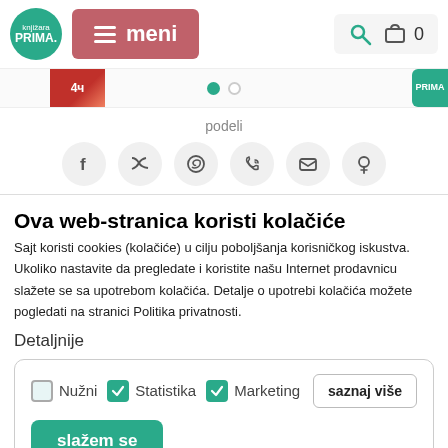knjižara PRIMA — meni — search — cart 0
[Figure (screenshot): Slider strip with book image thumbnail, navigation dots (filled green and empty), and teal badge on right]
podeli
[Figure (infographic): Row of 6 social sharing icon buttons: Facebook (f), Twitter (bird), WhatsApp, phone/viber, email, Pinterest]
Ova web-stranica koristi kolačiće
Sajt koristi cookies (kolačiće) u cilju poboljšanja korisničkog iskustva. Ukoliko nastavite da pregledate i koristite našu Internet prodavnicu slažete se sa upotrebom kolačića. Detalje o upotrebi kolačića možete pogledati na stranici Politika privatnosti.
Detaljnije
Nužni  Statistika  Marketing  saznaj više  slažem se